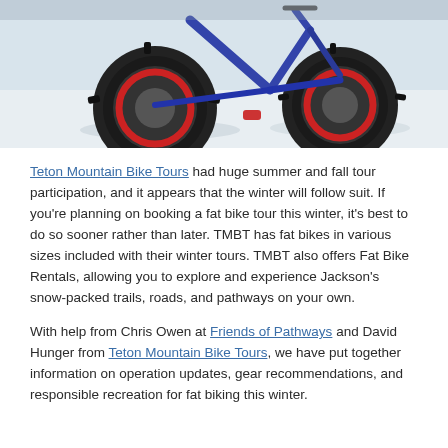[Figure (photo): Close-up photo of fat bike tires resting on snow-covered ground, showing thick knobby tires with red rims and blue frame against a snowy white background.]
Teton Mountain Bike Tours had huge summer and fall tour participation, and it appears that the winter will follow suit. If you’re planning on booking a fat bike tour this winter, it’s best to do so sooner rather than later. TMBT has fat bikes in various sizes included with their winter tours. TMBT also offers Fat Bike Rentals, allowing you to explore and experience Jackson’s snow-packed trails, roads, and pathways on your own.
With help from Chris Owen at Friends of Pathways and David Hunger from Teton Mountain Bike Tours, we have put together information on operation updates, gear recommendations, and responsible recreation for fat biking this winter.